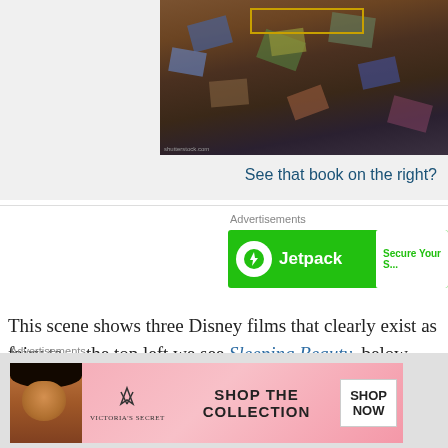[Figure (photo): Aerial view of books scattered on a wooden floor, with a gold rectangle outline visible in upper portion]
See that book on the right?
Advertisements
[Figure (screenshot): Jetpack advertisement banner in green with logo and 'Secure Your...' button]
This scene shows three Disney films that clearly exist as fairy ta... the top left we see Sleeping Beauty, below that is Beauty and th...
[Figure (screenshot): Dark blue night sky advertisement, partially visible with close button]
Advertisements
[Figure (screenshot): Victoria's Secret advertisement banner with model, logo, 'SHOP THE COLLECTION' text and 'SHOP NOW' button]